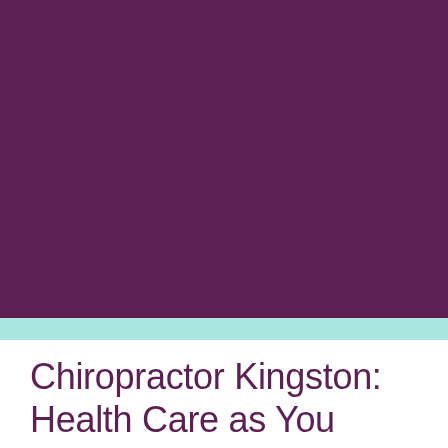[Figure (illustration): Large solid purple/plum colored rectangular block filling the upper portion of the page.]
Chiropractor Kingston: Health Care as You